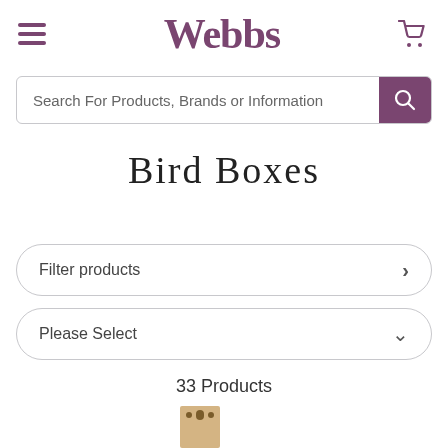Webbs
Search For Products, Brands or Information
Bird Boxes
Filter products
Please Select
33 Products
[Figure (photo): Partial view of a wooden bird box product at the bottom of the page]